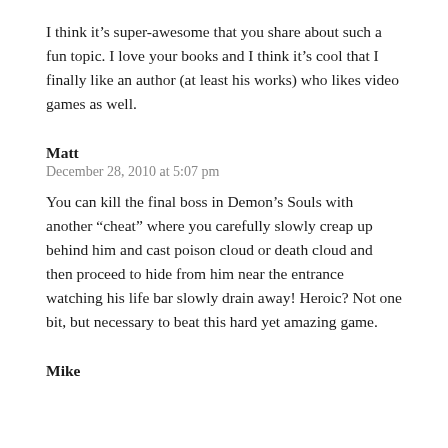I think it's super-awesome that you share about such a fun topic. I love your books and I think it's cool that I finally like an author (at least his works) who likes video games as well.
Matt
December 28, 2010 at 5:07 pm
You can kill the final boss in Demon’s Souls with another “cheat” where you carefully slowly creap up behind him and cast poison cloud or death cloud and then proceed to hide from him near the entrance watching his life bar slowly drain away! Heroic? Not one bit, but necessary to beat this hard yet amazing game.
Mike